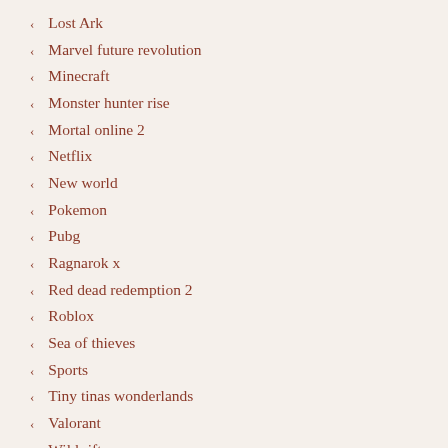Lost Ark
Marvel future revolution
Minecraft
Monster hunter rise
Mortal online 2
Netflix
New world
Pokemon
Pubg
Ragnarok x
Red dead redemption 2
Roblox
Sea of thieves
Sports
Tiny tinas wonderlands
Valorant
Wild rift
Wow classic